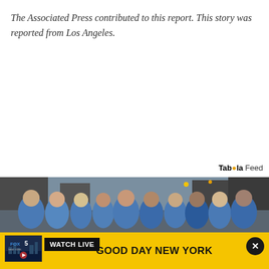The Associated Press contributed to this report. This story was reported from Los Angeles.
Taboola Feed
[Figure (photo): Group photo of about twelve people in blue t-shirts standing on a city street with urban buildings in the background]
[Figure (screenshot): Advertisement banner: WATCH LIVE - GOOD DAY NEW YORK with Fox 5 New York logo thumbnail on yellow background]